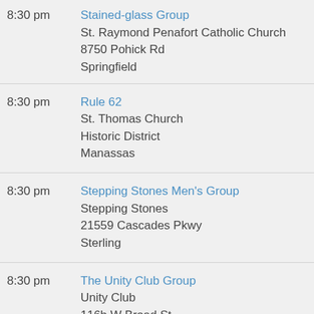8:30 pm | Stained-glass Group | St. Raymond Penafort Catholic Church | 8750 Pohick Rd | Springfield
8:30 pm | Rule 62 | St. Thomas Church | Historic District | Manassas
8:30 pm | Stepping Stones Men's Group | Stepping Stones | 21559 Cascades Pkwy | Sterling
8:30 pm | The Unity Club Group | Unity Club | 116b W Broad St | Falls Church
8:30 pm | The Clover Group | Warrenton Presbyterian Church